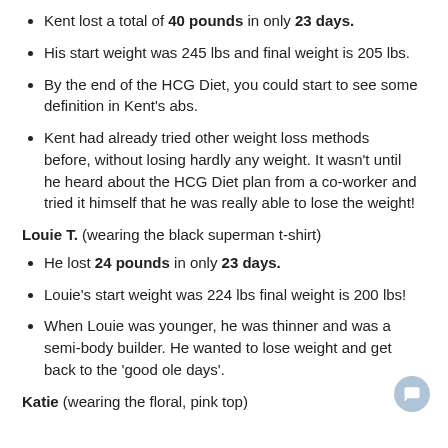Kent lost a total of 40 pounds in only 23 days.
His start weight was 245 lbs and final weight is 205 lbs.
By the end of the HCG Diet, you could start to see some definition in Kent's abs.
Kent had already tried other weight loss methods before, without losing hardly any weight. It wasn't until he heard about the HCG Diet plan from a co-worker and tried it himself that he was really able to lose the weight!
Louie T. (wearing the black superman t-shirt)
He lost 24 pounds in only 23 days.
Louie's start weight was 224 lbs final weight is 200 lbs!
When Louie was younger, he was thinner and was a semi-body builder. He wanted to lose weight and get back to the 'good ole days'.
Katie (wearing the floral, pink top)